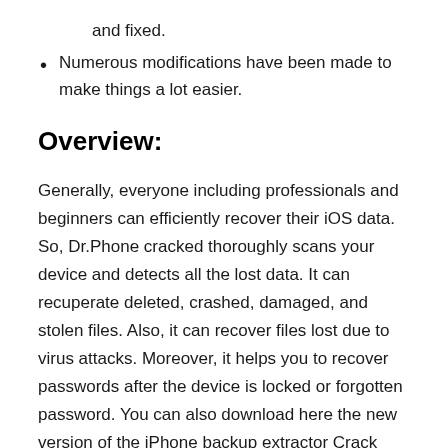and fixed.
Numerous modifications have been made to make things a lot easier.
Overview:
Generally, everyone including professionals and beginners can efficiently recover their iOS data. So, Dr.Phone cracked thoroughly scans your device and detects all the lost data. It can recuperate deleted, crashed, damaged, and stolen files. Also, it can recover files lost due to virus attacks. Moreover, it helps you to recover passwords after the device is locked or forgotten password. You can also download here the new version of the iPhone backup extractor Crack free